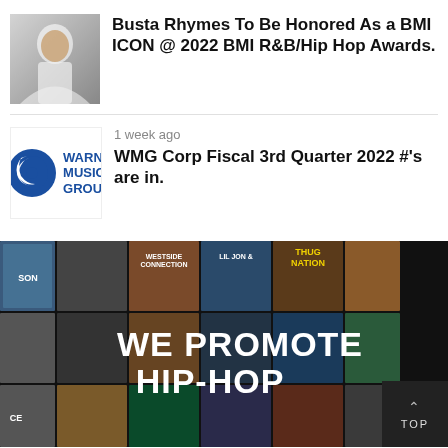[Figure (photo): Thumbnail photo of Busta Rhymes in white outfit]
Busta Rhymes To Be Honored As a BMI ICON @ 2022 BMI R&B/Hip Hop Awards.
[Figure (logo): Warner Music Group logo - WMG Corp]
1 week ago
WMG Corp Fiscal 3rd Quarter 2022 #'s are in.
[Figure (photo): Hip-hop album covers collage with WE PROMOTE HIP-HOP text overlay and TOP button]